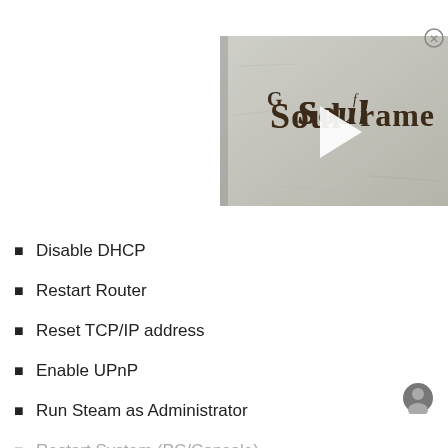[Figure (screenshot): Video thumbnail for Soulframe game with a medieval gothic-style logo reading 'Soulframe' on a stone texture background, with a play button in the center. A close (X) button is visible in the top-right corner.]
Disable DHCP
Restart Router
Reset TCP/IP address
Enable UPnP
Run Steam as Administrator
Restart System (PC/Console)